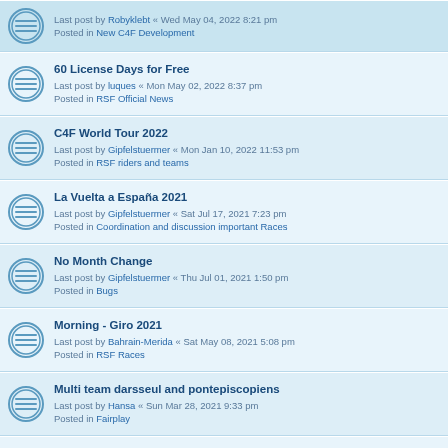Last post by Robyklebt « Wed May 04, 2022 8:21 pm
Posted in New C4F Development
60 License Days for Free
Last post by luques « Mon May 02, 2022 8:37 pm
Posted in RSF Official News
C4F World Tour 2022
Last post by Gipfelstuermer « Mon Jan 10, 2022 11:53 pm
Posted in RSF riders and teams
La Vuelta a España 2021
Last post by Gipfelstuermer « Sat Jul 17, 2021 7:23 pm
Posted in Coordination and discussion important Races
No Month Change
Last post by Gipfelstuermer « Thu Jul 01, 2021 1:50 pm
Posted in Bugs
Morning - Giro 2021
Last post by Bahrain-Merida « Sat May 08, 2021 5:08 pm
Posted in RSF Races
Multi team darsseul and pontepiscopiens
Last post by Hansa « Sun Mar 28, 2021 9:33 pm
Posted in Fairplay
Attack bug?
Last post by Weezel « Sun Mar 21, 2021 5:20 pm
Posted in Bugs
Big Donkey aka Robyklebt = harassment and repeated provocations
Last post by Idéfix « Sat Mar 20, 2021 2:21 pm